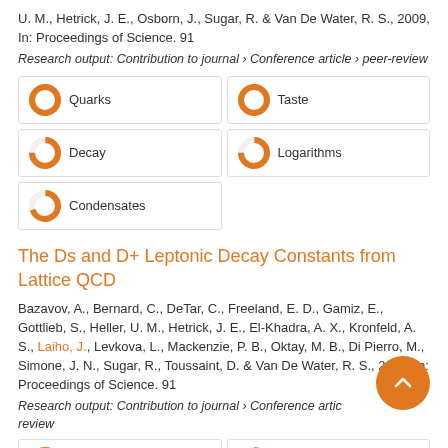U. M., Hetrick, J. E., Osborn, J., Sugar, R. & Van De Water, R. S., 2009, In: Proceedings of Science. 91
Research output: Contribution to journal › Conference article › peer-review
[Figure (infographic): Keyword badges: Quarks (100%), Taste (100%), Decay (75%), Logarithms (75%), Condensates (70%)]
The Ds and D+ Leptonic Decay Constants from Lattice QCD
Bazavov, A., Bernard, C., DeTar, C., Freeland, E. D., Gamiz, E., Gottlieb, S., Heller, U. M., Hetrick, J. E., El-Khadra, A. X., Kronfeld, A. S., Laiho, J., Levkova, L., Mackenzie, P. B., Oktay, M. B., Di Pierro, M., Simone, J. N., Sugar, R., Toussaint, D. & Van De Water, R. S., 2009, In: Proceedings of Science. 91
Research output: Contribution to journal › Conference article › peer-review
[Figure (infographic): Keyword badges: Quantum Chromodynamics (100%), Quarks (90%)]